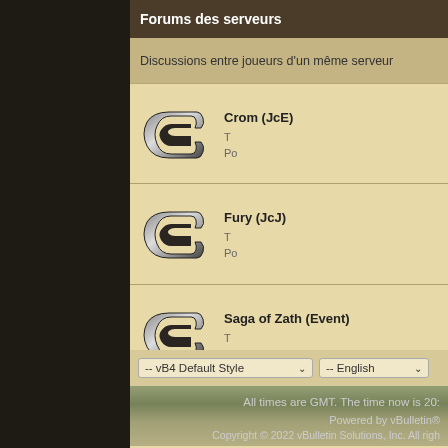Forums des serveurs
Discussions entre joueurs d'un même serveur
Crom (JcE)
Fury (JcJ)
Saga of Zath (Event)
-- vB4 Default Style
-- English
All times are GMT. The time now is 20:
Powered by vBulletin®
Copyright © 2022 vBulletin Solutions, Inc. All righ